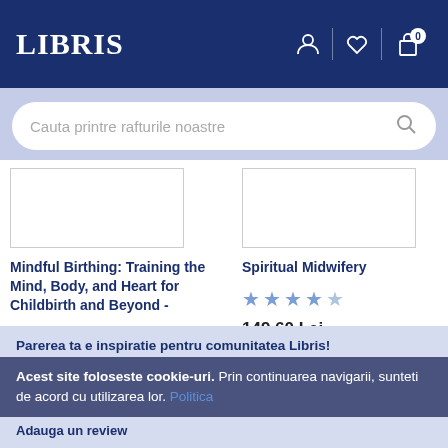LIBRIS
Cauta printre rafturile noastre
Mindful Birthing: Training the Mind, Body, and Heart for Childbirth and Beyond -
135.86 Lei
Spiritual Midwifery
149.60 Lei
Parerea ta e inspiratie pentru comunitatea Libris!
Acest site foloseste cookie-uri. Prin continuarea navigarii, sunteti de acord cu utilizarea lor. Politica
Adauga un review